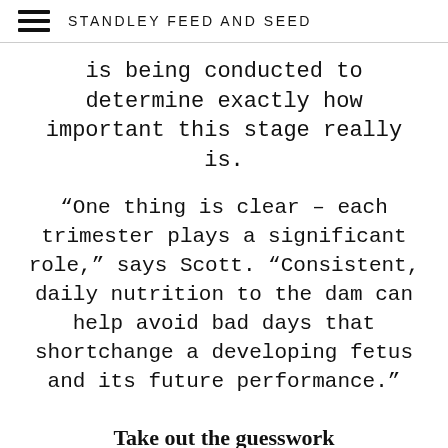STANDLEY FEED AND SEED
is being conducted to determine exactly how important this stage really is.
“One thing is clear – each trimester plays a significant role,” says Scott. “Consistent, daily nutrition to the dam can help avoid bad days that shortchange a developing fetus and its future performance.”
Take out the guesswork
What does all of this mean for you nutrition program?